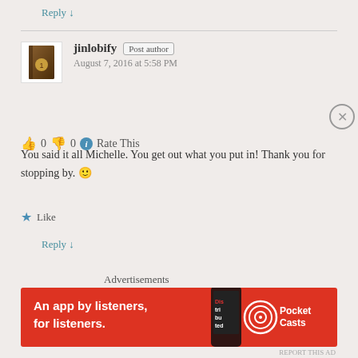Reply ↓
jinlobify  Post author
August 7, 2016 at 5:58 PM
👍 0  👎 0  ℹ Rate This
You said it all Michelle. You get out what you put in! Thank you for stopping by. 🙂
★ Like
Reply ↓
Advertisements
[Figure (other): Red Pocket Casts advertisement banner: 'An app by listeners, for listeners.' with phone graphic and Pocket Casts logo]